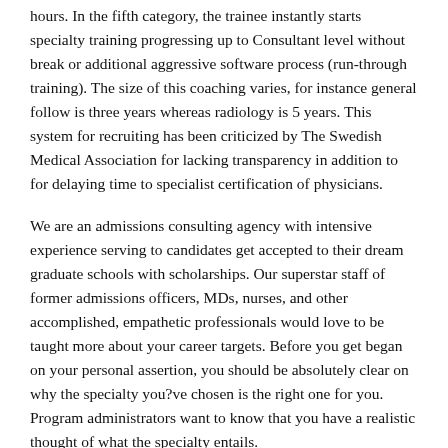hours. In the fifth category, the trainee instantly starts specialty training progressing up to Consultant level without break or additional aggressive software process (run-through training). The size of this coaching varies, for instance general follow is three years whereas radiology is 5 years. This system for recruiting has been criticized by The Swedish Medical Association for lacking transparency in addition to for delaying time to specialist certification of physicians.
We are an admissions consulting agency with intensive experience serving to candidates get accepted to their dream graduate schools with scholarships. Our superstar staff of former admissions officers, MDs, nurses, and other accomplished, empathetic professionals would love to be taught more about your career targets. Before you get began on your personal assertion, you should be absolutely clear on why the specialty you?ve chosen is the right one for you. Program administrators want to know that you have a realistic thought of what the specialty entails.